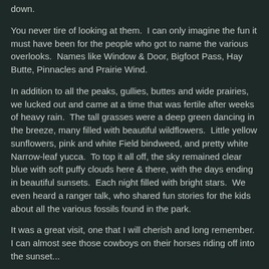down.
You never tire of looking at them.  I can only imagine the fun it must have been for the people who got to name the various overlooks.  Names like Window & Door, Bigfoot Pass, Hay Butte, Pinnacles and Prairie Wind.
In addition to all the peaks, gullies, buttes and wide prairies, we lucked out and came at a time that was fertile after weeks of heavy rain.  The tall grasses were a deep green dancing in the breeze, many filled with beautiful wildflowers.  Little yellow sunflowers, pink and white Field bindweed, and pretty white Narrow-leaf yucca.  To top it all off, the sky remained clear blue with soft puffy clouds here & there, with the days ending in beautiful sunsets.  Each night filled with bright stars.  We even heard a ranger talk, who shared fun stories for the kids about all the various fossils found in the park.
It was a great visit, one that I will cherish and long remember.  I can almost see those cowboys on their horses riding off into the sunset...